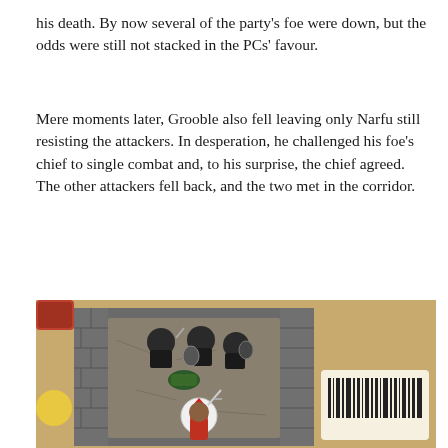his death. By now several of the party's foe were down, but the odds were still not stacked in the PCs' favour.
Mere moments later, Grooble also fell leaving only Narfu still resisting the attackers. In desperation, he challenged his foe's chief to single combat and, to his surprise, the chief agreed. The other attackers fell back, and the two met in the corridor.
[Figure (photo): Overhead view of tabletop RPG miniature figures arranged in a stone dungeon corridor terrain piece on a wooden table. Multiple dark-armored figures face a single figure in red and white at the far end of the corridor. A barcode label and yellow disk are visible in the background.]